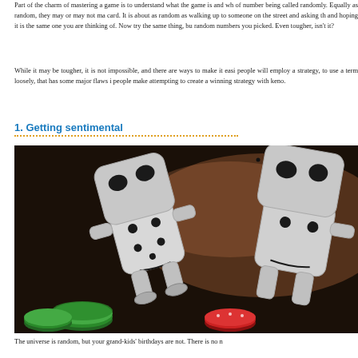Part of the charm of mastering a game is to understand what the game is and wh of number being called randomly. Equally as random, they may or may not ma card. It is about as random as walking up to someone on the street and asking th and hoping it is the same one you are thinking of. Now try the same thing, bu random numbers you picked. Even tougher, isn't it?
While it may be tougher, it is not impossible, and there are ways to make it easi people will employ a strategy, to use a term loosely, that has some major flaws i people make attempting to create a winning strategy with keno.
1. Getting sentimental
[Figure (photo): Photo of anthropomorphic white dice figures sitting among casino chips (green, red) on a dark background. The dice characters have facial features (eyes, mouth) and appear to be interacting.]
The universe is random, but your grand-kids' birthdays are not. There is no n